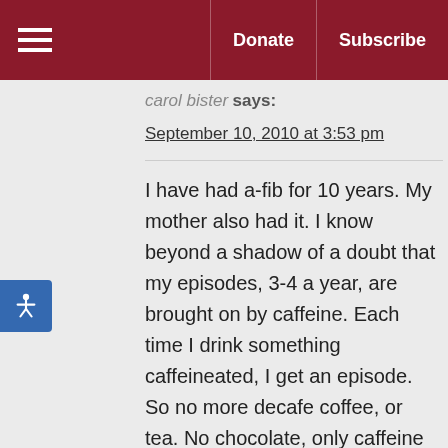≡  Donate  Subscribe
carol bister says:
September 10, 2010 at 3:53 pm
I have had a-fib for 10 years. My mother also had it. I know beyond a shadow of a doubt that my episodes, 3-4 a year, are brought on by caffeine. Each time I drink something caffeineated, I get an episode. So no more decafe coffee, or tea. No chocolate, only caffeine free sodas. The last time I converted, I passed out. Very scary. So I am strict about my diet, do not want that to